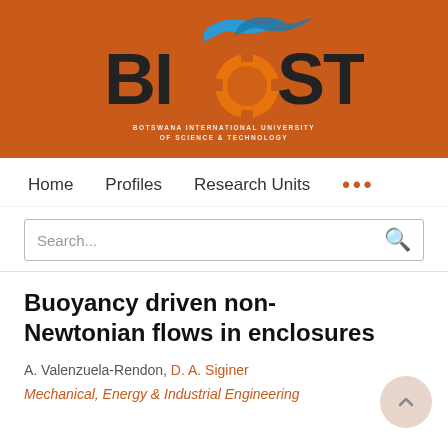[Figure (logo): BIUST (Botswana International University of Science and Technology) logo on orange background with stylized bird/flame and gear symbol]
Home   Profiles   Research Units   ...
Search...
Buoyancy driven non-Newtonian flows in enclosures
A. Valenzuela-Rendon, D. A. Siginer
Mechanical, Energy & Industrial Engineering